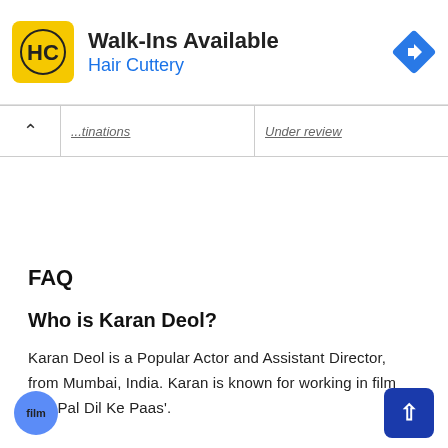[Figure (infographic): Hair Cuttery advertisement banner with HC logo in yellow square, text 'Walk-Ins Available' and 'Hair Cuttery' in blue, with a blue diamond navigation icon on the right]
| ...tinations | Under review |
| --- | --- |
FAQ
Who is Karan Deol?
Karan Deol is a Popular Actor and Assistant Director, from Mumbai, India. Karan is known for working in film 'Pal Pal Dil Ke Paas'.